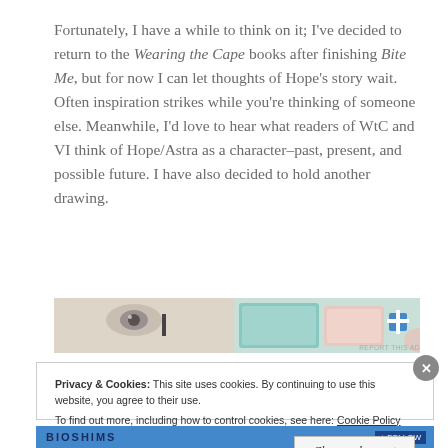Fortunately, I have a while to think on it; I've decided to return to the Wearing the Cape books after finishing Bite Me, but for now I can let thoughts of Hope's story wait. Often inspiration strikes while you're thinking of someone else. Meanwhile, I'd love to hear what readers of WtC and VI think of Hope/Astra as a character–past, present, and possible future. I have also decided to hold another drawing.
[Figure (photo): Banner advertisement image showing various product packaging items in pastel colors]
Privacy & Cookies: This site uses cookies. By continuing to use this website, you agree to their use. To find out more, including how to control cookies, see here: Cookie Policy
Close and accept